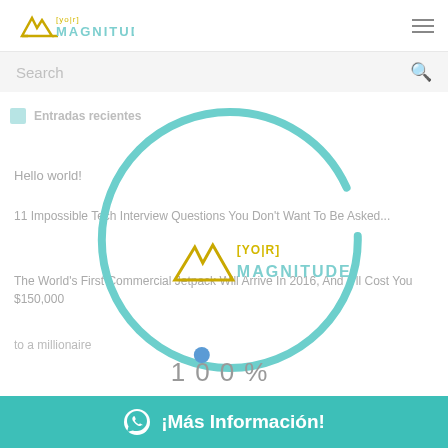[Figure (logo): Your Magnitude logo in top left header with mountain/M icon in gold and teal text]
Search
[Figure (illustration): Loading spinner circle in teal/mint color with a blue dot at bottom and [YOUR] MAGNITUDE logo centered inside]
Entradas recientes
Hello world!
11 Impossible Tech Interview Questions You Don't Want To Be Asked...
The World's First Commercial Jetpack Will Arrive In 2016, And It'll Cost You $150,000
100%
to a millionaire
¡Más Información!